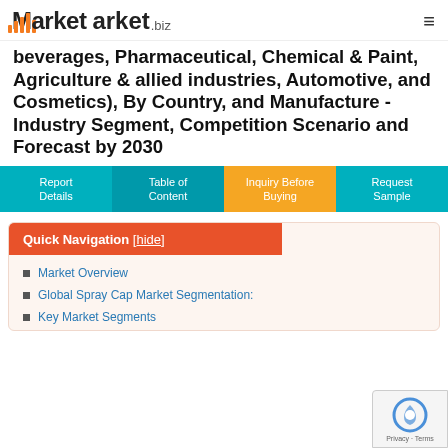Market.biz
beverages, Pharmaceutical, Chemical & Paint, Agriculture & allied industries, Automotive, and Cosmetics), By Country, and Manufacture - Industry Segment, Competition Scenario and Forecast by 2030
Report Details
Table of Content
Inquiry Before Buying
Request Sample
Quick Navigation [hide]
Market Overview
Global Spray Cap Market Segmentation:
Key Market Segments